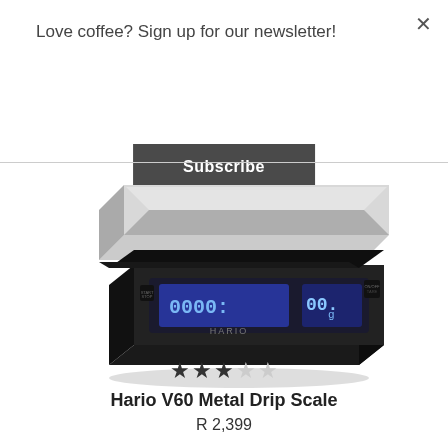Love coffee? Sign up for our newsletter!
Subscribe
[Figure (photo): Hario V60 Metal Drip Scale — a black digital kitchen scale with a silver/white flat platform on top. The front face shows a blue LCD display with a timer and weight readout, plus buttons labeled STAR/STOP and ON/OFF. The Hario logo is visible on the display face.]
★★★☆☆
Hario V60 Metal Drip Scale
R 2,399